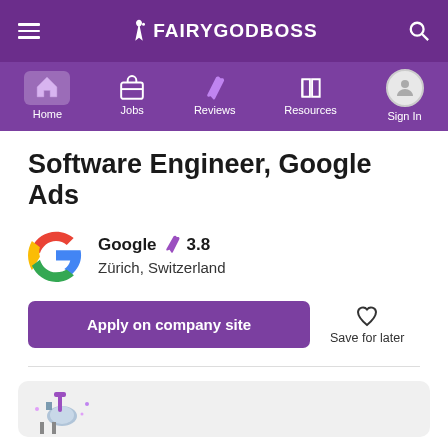FAIRYGODBOSS
[Figure (screenshot): Navigation bar with Home, Jobs, Reviews, Resources, Sign In icons]
Software Engineer, Google Ads
Google  3.8
Zürich, Switzerland
Apply on company site
Save for later